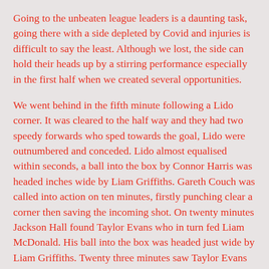Going to the unbeaten league leaders is a daunting task, going there with a side depleted by Covid and injuries is difficult to say the least. Although we lost, the side can hold their heads up by a stirring performance especially in the first half when we created several opportunities.
We went behind in the fifth minute following a Lido corner. It was cleared to the half way and they had two speedy forwards who sped towards the goal, Lido were outnumbered and conceded. Lido almost equalised within seconds, a ball into the box by Connor Harris was headed inches wide by Liam Griffiths. Gareth Couch was called into action on ten minutes, firstly punching clear a corner then saving the incoming shot. On twenty minutes Jackson Hall found Taylor Evans who in turn fed Liam McDonald. His ball into the box was headed just wide by Liam Griffiths. Twenty three minutes saw Taylor Evans in space in the area but he fired over the bar. Josh Webber beat a couple of players but he lost the ball as he entered the